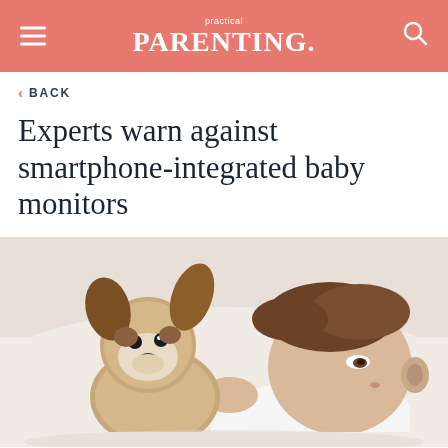practical PARENTING.
< BACK
Experts warn against smartphone-integrated baby monitors
[Figure (photo): Baby lying on a white blanket, eyes partially open, holding a stuffed toy dog with brown ears and a cream-colored face.]